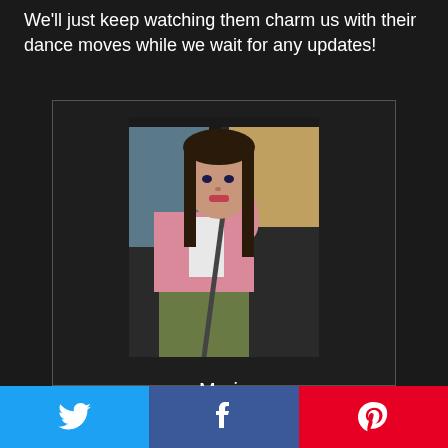We'll just keep watching them charm us with their dance moves while we wait for any updates!
[Figure (photo): Young woman with long dark hair wearing a pink cardigan and green pants, sitting in a vehicle with seatbelt on, looking to the side.]
Marie
Marie is an avid General Hospital fan. Her passion for writing and the compelling nature of the storylines is a
[Figure (other): Social sharing bar with Twitter (blue), Facebook (dark blue), and Pinterest (red) buttons at the bottom of the page.]